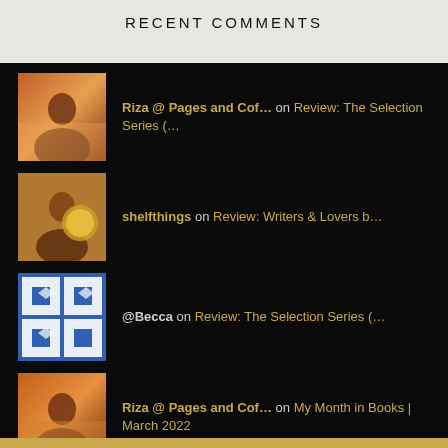RECENT COMMENTS
Riza @ Pages and Cof… on Review: The Selection Series (…
shelfthings on Review: Writers & Lovers b…
@Becca on Review: The Selection Series (…
Riza @ Pages and Cof… on My Month in Books | March 2022
Privacy & Cookies: This site uses cookies. By continuing to use this website, you agree to their use.
To find out more, including how to control cookies, see here: Cookie Policy
Close and accept